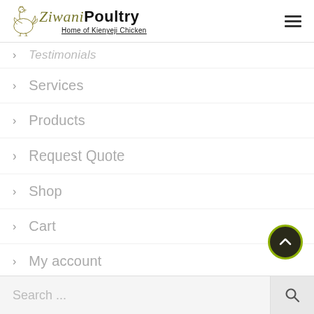[Figure (logo): Ziwani Poultry logo with chicken illustration, italic 'Ziwani' in olive and bold 'Poultry' in black, tagline 'Home of Kienyeji Chicken' underlined below]
Testimonials (partially visible)
Services
Products
Request Quote
Shop
Cart
My account
Search ...